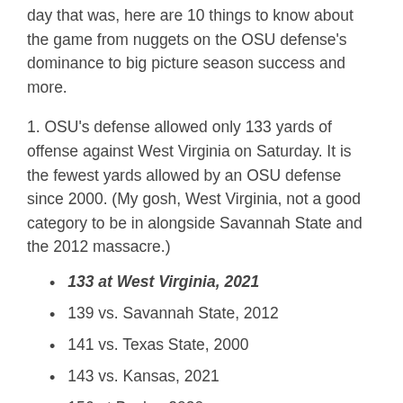day that was, here are 10 things to know about the game from nuggets on the OSU defense's dominance to big picture season success and more.
1. OSU's defense allowed only 133 yards of offense against West Virginia on Saturday. It is the fewest yards allowed by an OSU defense since 2000. (My gosh, West Virginia, not a good category to be in alongside Savannah State and the 2012 massacre.)
133 at West Virginia, 2021
139 vs. Savannah State, 2012
141 vs. Texas State, 2000
143 vs. Kansas, 2021
156 at Baylor, 2020
175 at South Alabama, 2017
2. OSU has allowed only 3 points in